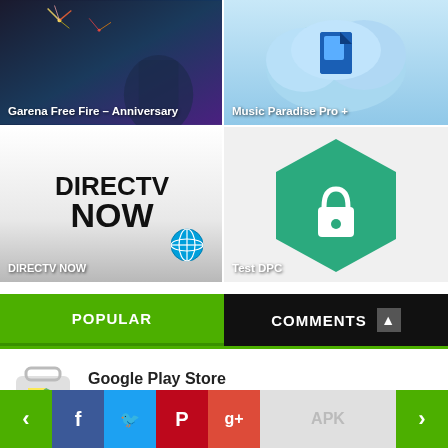[Figure (screenshot): Garena Free Fire – Anniversary app thumbnail with dark action game background and text label]
[Figure (screenshot): Music Paradise Pro + app thumbnail with blue cloud icon on light blue background]
[Figure (screenshot): DIRECTV NOW app thumbnail with black and white DIRECTV NOW logo and AT&T globe icon]
[Figure (screenshot): Test DPC app thumbnail with teal/green hexagonal shield and lock icon]
POPULAR
COMMENTS
Google Play Store
Games  660478